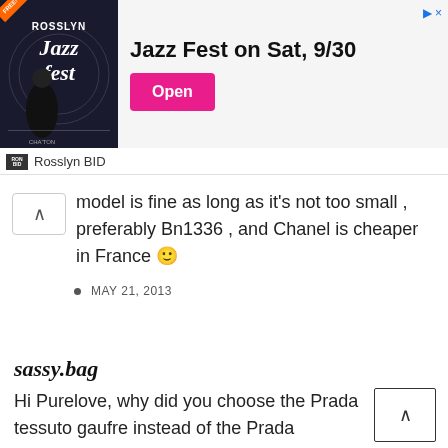[Figure (screenshot): Advertisement banner for Rosslyn Jazz Fest on Sat, 9/30 with Open button and Rosslyn BID branding]
model is fine as long as it's not too small , preferably Bn1336 , and Chanel is cheaper in France 🙂
MAY 21, 2013
sassy.bag
Hi Purelove, why did you choose the Prada tessuto gaufre instead of the Prada